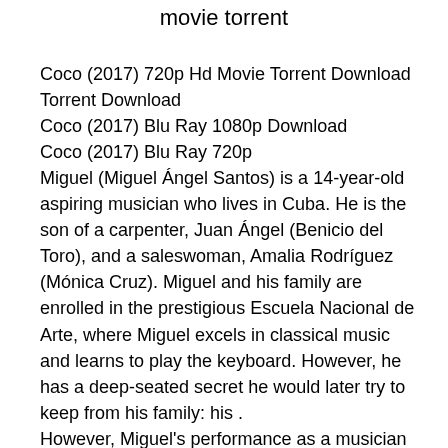movie torrent
Coco (2017) 720p Hd Movie Torrent Download Torrent Download
Coco (2017) Blu Ray 1080p Download
Coco (2017) Blu Ray 720p
Miguel (Miguel Ángel Santos) is a 14-year-old aspiring musician who lives in Cuba. He is the son of a carpenter, Juan Ángel (Benicio del Toro), and a saleswoman, Amalia Rodríguez (Mónica Cruz). Miguel and his family are enrolled in the prestigious Escuela Nacional de Arte, where Miguel excels in classical music and learns to play the keyboard. However, he has a deep-seated secret he would later try to keep from his family: his .
However, Miguel's performance as a musician is halted by his father's distrust of the Catholic Church. Miguel is subsequently